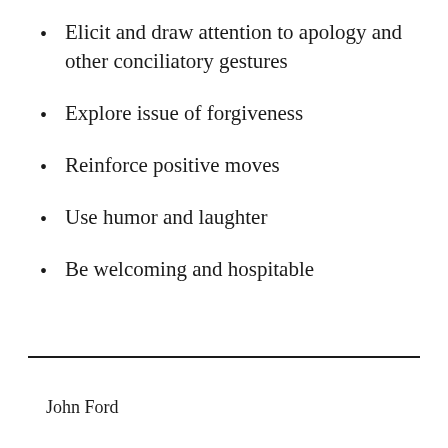Elicit and draw attention to apology and other conciliatory gestures
Explore issue of forgiveness
Reinforce positive moves
Use humor and laughter
Be welcoming and hospitable
John Ford